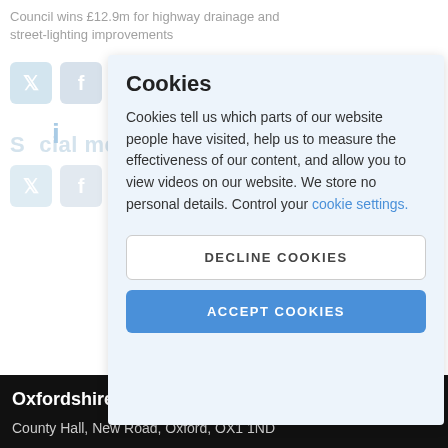Council wins £12.9m for highway drainage and street-lighting improvements
Social media
Cookies
Cookies tell us which parts of our website people have visited, help us to measure the effectiveness of our content, and allow you to view videos on our website. We store no personal details. Control your cookie settings.
DECLINE COOKIES
ACCEPT COOKIES
Oxfordshire County Council
County Hall, New Road, Oxford, OX1 1ND